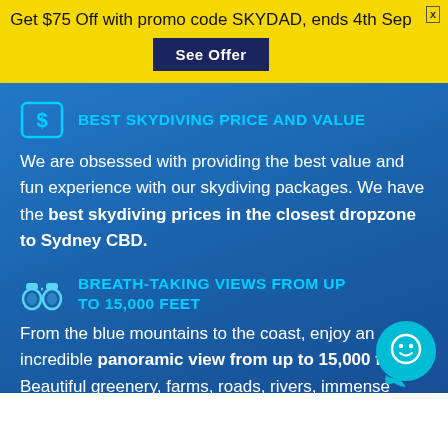Get $75 Off with promo code SKYDAD, ends 4th Sep
BEST SKYDIVING PRICE AND VALUE
We are obsessed with providing the best value and fun experience with our skydiving packages. We have the best skydiving prices in the closest dropzone to Sydney CBD.
BREATH-TAKING VIEWS FROM UP TO 15,000 FEET
From the blue mountains to the coast, enjoy an incredible panoramic view from up to 15,000 feet. Beautiful greenery, farms, roads, rivers, immense range of